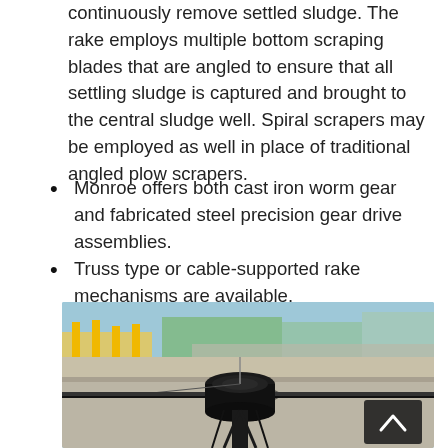continuously remove settled sludge. The rake employs multiple bottom scraping blades that are angled to ensure that all settling sludge is captured and brought to the central sludge well. Spiral scrapers may be employed as well in place of traditional angled plow scrapers.
Monroe offers both cast iron worm gear and fabricated steel precision gear drive assemblies.
Truss type or cable-supported rake mechanisms are available.
[Figure (photo): Photograph of a circular clarifier sedimentation tank showing the central drive mechanism (a large black cylindrical hub and rake arm) mounted over a concrete basin. Yellow safety railings and green vegetation are visible in the background. A dark scroll-up button with a chevron icon is overlaid in the bottom-right corner of the image.]